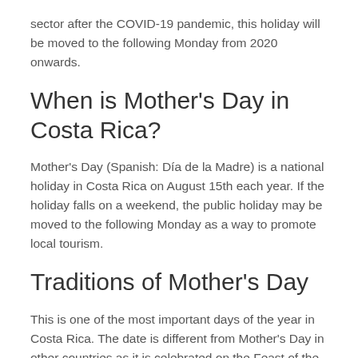sector after the COVID-19 pandemic, this holiday will be moved to the following Monday from 2020 onwards.
When is Mother's Day in Costa Rica?
Mother's Day (Spanish: Día de la Madre) is a national holiday in Costa Rica on August 15th each year. If the holiday falls on a weekend, the public holiday may be moved to the following Monday as a way to promote local tourism.
Traditions of Mother's Day
This is one of the most important days of the year in Costa Rica. The date is different from Mother's Day in other countries as it is celebrated on the Feast of the Assumption. The